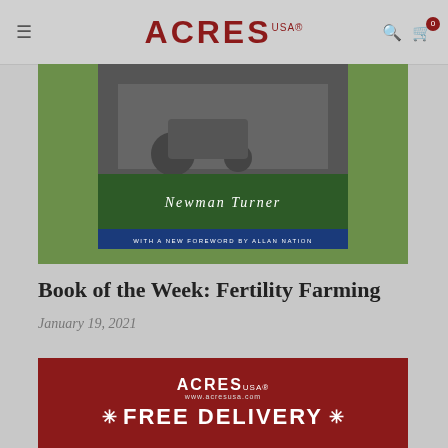ACRES USA
[Figure (photo): Book cover of 'Fertility Farming' by Newman Turner, with a new foreword by Allan Nation. Features a black and white image of a tractor and a green lower section with white text.]
Book of the Week: Fertility Farming
January 19, 2021
[Figure (other): Red advertisement banner for Acres USA showing 'FREE DELIVERY' text with decorative starbursts and the Acres USA logo and website www.acresusa.com]